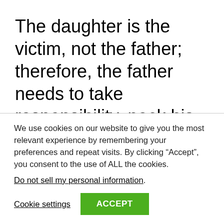The daughter is the victim, not the father; therefore, the father needs to take responsibility, pack his bags and leave.
I will kindly suggest that when he leaves the family requests that
We use cookies on our website to give you the most relevant experience by remembering your preferences and repeat visits. By clicking “Accept”, you consent to the use of ALL the cookies.
Do not sell my personal information.
Cookie settings
ACCEPT